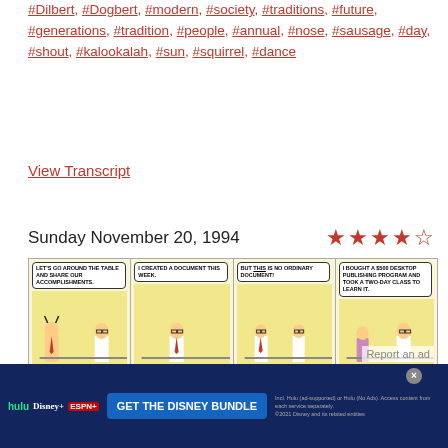#Dilbert, #Dogbert, #modern, #society, #traditions, #future, #generations, #tradition, #people, #annual, #nose, #sausage, #day, #shout, #kalookalah, #sun, #squirrel, #dance
View Transcript
Sunday November 20, 1994
[Figure (illustration): Dilbert comic strip from Sunday November 20, 1994 showing 8 panels with characters discussing a desktop publishing document. Top row: panel 1 - boss says LET'S GO AROUND THE TABLE AND SHARE OUR ACCOMPLISHMENTS; panel 2 - I CREATED A DOCUMENT THIS WEEK.; panel 3 - BUT THIS IS NO ORDINARY DOCUMENT!; panel 4 - I BOUGHT A $500 DESKTOP PUBLISHING PROGRAM AND TOOK A TWO-DAY CLASS TO LEARN IT. Bottom row (partially visible): panel 5 - I INCORPORATED DIGITIZED PHOTOS AND COLOR HIGHLIGHTS IN A MULTI-COLUMN PAGE LAYOUT!; panel 6 - CLIP-ART ICONS ARE SPRINKLED LIBERALLY AROUND THE PAGE TO FORM A VISUAL MOSAIC!; panel 7 - NEXT WEEK - GOD WILLING - I'LL ADD A TOPIC AND SOME CONTENT.; panel 8 - DO YOU REMEMBER WHEN I SAID YOU SHOULD ENJOY YOUR WORK? / I DIDN'T]
[Figure (screenshot): Hulu Disney+ ESPN+ Get the Disney Bundle advertisement banner. Text reads: GET THE DISNEY BUNDLE. Incl. Hulu (ad-supported) or Hulu (No Ads). Access content from each service separately. ©2021 Disney and its related entities]